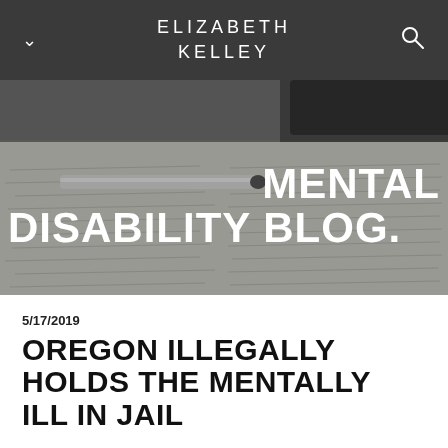ELIZABETH KELLEY
[Figure (photo): Black and white photo of handwritten paper pages with a pen resting on top, with 'MENTAL DISABILITY BLOG.' overlaid in large white uppercase text.]
5/17/2019
OREGON ILLEGALLY HOLDS THE MENTALLY ILL IN JAIL